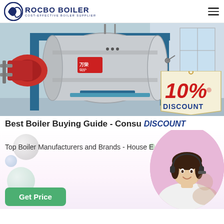ROCBO BOILER - COST-EFFECTIVE BOILER SUPPLIER
[Figure (photo): Industrial boiler equipment in a factory — large cylindrical silver boiler with blue frame and red burner attachment, with a 10% DISCOUNT badge overlay]
Best Boiler Buying Guide - Consu 10% DISCOUNT
Top Boiler Manufacturers and Brands - House E
[Figure (photo): Customer service agent — woman wearing headset smiling, in circular crop with pink/purple gradient background]
Get Price